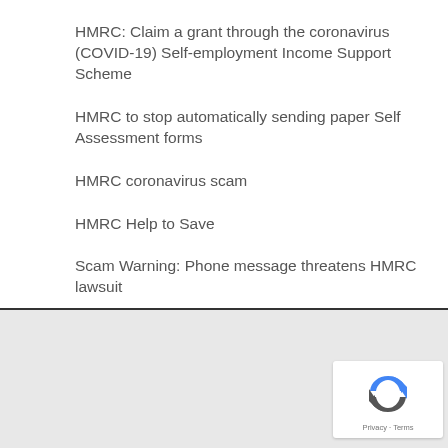HMRC: Claim a grant through the coronavirus (COVID-19) Self-employment Income Support Scheme
HMRC to stop automatically sending paper Self Assessment forms
HMRC coronavirus scam
HMRC Help to Save
Scam Warning: Phone message threatens HMRC lawsuit
[Figure (other): reCAPTCHA widget with logo and Privacy/Terms links]